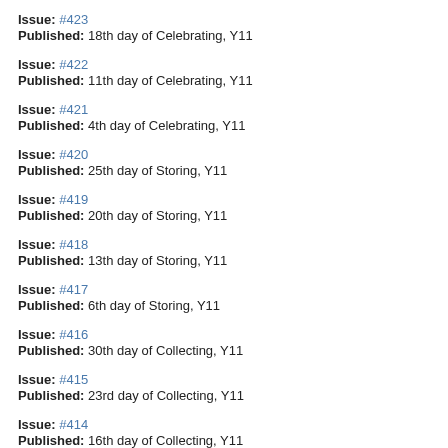Issue: #423
Published: 18th day of Celebrating, Y11
Issue: #422
Published: 11th day of Celebrating, Y11
Issue: #421
Published: 4th day of Celebrating, Y11
Issue: #420
Published: 25th day of Storing, Y11
Issue: #419
Published: 20th day of Storing, Y11
Issue: #418
Published: 13th day of Storing, Y11
Issue: #417
Published: 6th day of Storing, Y11
Issue: #416
Published: 30th day of Collecting, Y11
Issue: #415
Published: 23rd day of Collecting, Y11
Issue: #414
Published: 16th day of Collecting, Y11
Issue: #413
Published: 9th day of Collecting, Y11
Issue: #412
Published: 2nd day of Collecting, Y11
Issue: #411